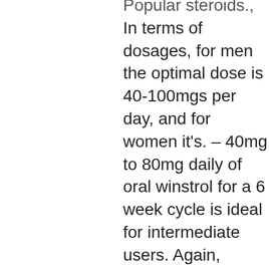Popular steroids., In terms of dosages, for men the optimal dose is 40-100mgs per day, and for women it's. – 40mg to 80mg daily of oral winstrol for a 6 week cycle is ideal for intermediate users. Again, monitoring effects as you go allows you to. Winstrol er en av de mest populære og kjente anabole steroider på jorden. Sagt injiserbare former kan være litt mer potent på en samlet mg for mg basis. Buy winstrol